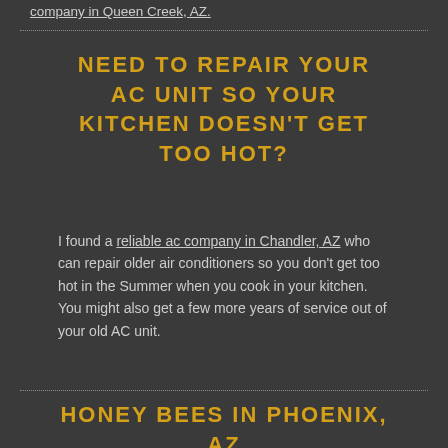company in Queen Creek, AZ.
NEED TO REPAIR YOUR AC UNIT SO YOUR KITCHEN DOESN'T GET TOO HOT?
I found a reliable ac company in Chandler, AZ who can repair older air conditioners so you don't get too hot in the Summer when you cook in your kitchen. You might also get a few more years of service out of your old AC unit.
HONEY BEES IN PHOENIX, AZ
Looking to learn more about Honey bees in